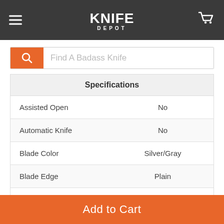KNIFE DEPOT
Find A Badass Knife
| Specification | Value |
| --- | --- |
| Assisted Open | No |
| Automatic Knife | No |
| Blade Color | Silver/Gray |
| Blade Edge | Plain |
| Blade Length | 4.25 |
| Blade Material | Stainless Steel (8Cr13MoV) |
| Blade Type | Full Flat Grind |
Add to Cart